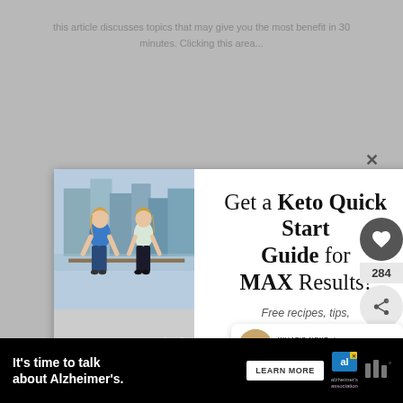This article discusses topics that may give you the most benefit in 30 minutes. Clicking this area...
[Figure (screenshot): Modal popup overlay on a website offering a Keto Quick Start Guide. Contains photo of two women, email signup form, and Privacy Policy link.]
Get a Keto Quick Start Guide for MAX Results!
Free recipes, tips, printables, and more!
Your Email Address
Sign Me Up
Privacy Policy
WHAT'S NEXT → 25 Low Carb Breakfast...
It's time to talk about Alzheimer's.
LEARN MORE